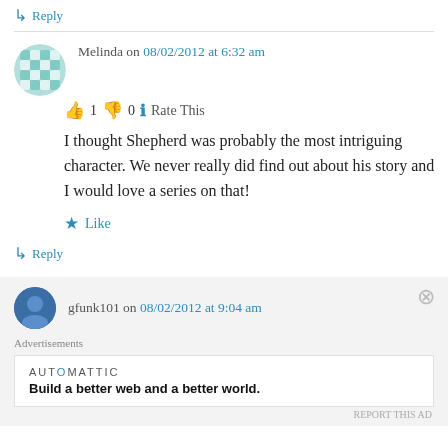↳ Reply
Melinda on 08/02/2012 at 6:32 am
👍 1 👎 0 ℹ Rate This
I thought Shepherd was probably the most intriguing character. We never really did find out about his story and I would love a series on that!
★ Like
↳ Reply
gfunk101 on 08/02/2012 at 9:04 am
Advertisements
AUTOMATTIC
Build a better web and a better world.